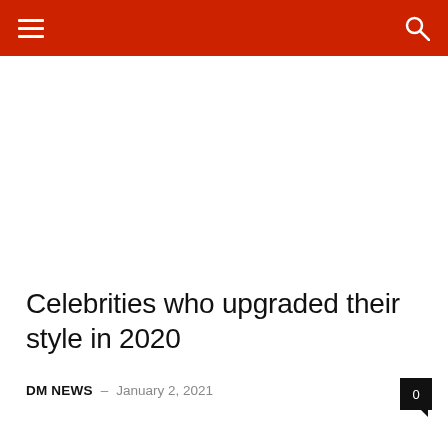DM NEWS
Celebrities who upgraded their style in 2020
DM NEWS – January 2, 2021